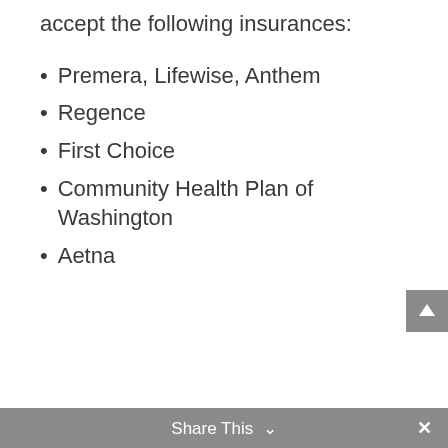accept the following insurances:
Premera, Lifewise, Anthem
Regence
First Choice
Community Health Plan of Washington
Aetna
Share This ∨  ×